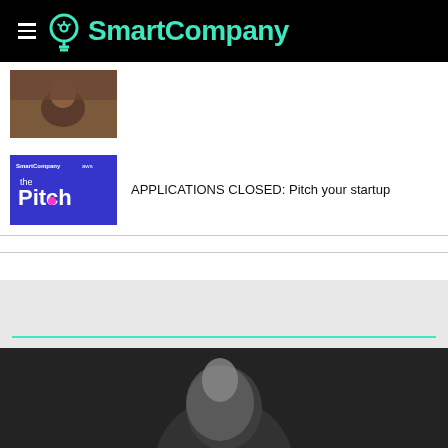SmartCompany
[Figure (photo): Thumbnail photo of people (partially visible)]
[Figure (logo): The Pitch by SmartCompany and AWS - blue banner logo]
APPLICATIONS CLOSED: Pitch your startup
TRENDING
[Figure (photo): Black and white photo of a person, partially visible at bottom of page]